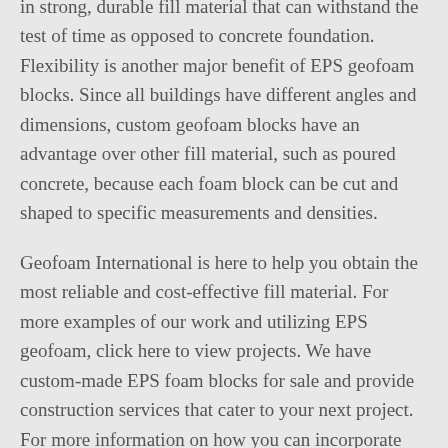preventing mold and build-up and resulting in strong, durable fill material that can withstand the test of time as opposed to concrete foundation. Flexibility is another major benefit of EPS geofoam blocks. Since all buildings have different angles and dimensions, custom geofoam blocks have an advantage over other fill material, such as poured concrete, because each foam block can be cut and shaped to specific measurements and densities.
Geofoam International is here to help you obtain the most reliable and cost-effective fill material. For more examples of our work and utilizing EPS geofoam, click here to view projects. We have custom-made EPS foam blocks for sale and provide construction services that cater to your next project. For more information on how you can incorporate geofoam blocks within your building foundation, connect with Geofoam International—we're here to provide you with all your geofoam needs.